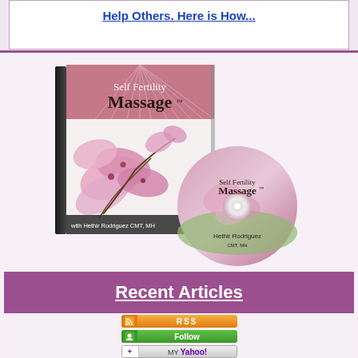Help Others. Here is How...
[Figure (photo): Self Fertility Massage DVD box set with disc, featuring pink orchid flowers and text 'with Hethir Rodriguez CMT, MH' and 'Hethir Rodriguez']
Recent Articles
[Figure (infographic): RSS subscription button (orange), Follow button (green), My Yahoo button (grey)]